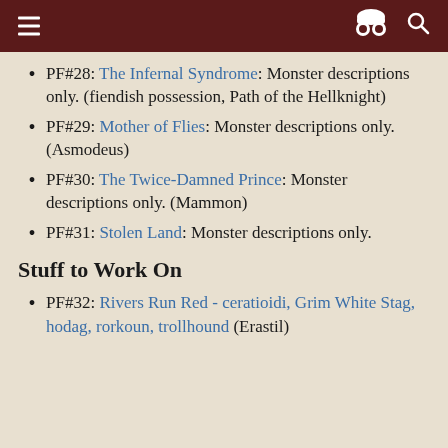PF#28: The Infernal Syndrome: Monster descriptions only. (fiendish possession, Path of the Hellknight)
PF#29: Mother of Flies: Monster descriptions only. (Asmodeus)
PF#30: The Twice-Damned Prince: Monster descriptions only. (Mammon)
PF#31: Stolen Land: Monster descriptions only.
Stuff to Work On
PF#32: Rivers Run Red - ceratioidi, Grim White Stag, hodag, rorkoun, trollhound (Erastil)